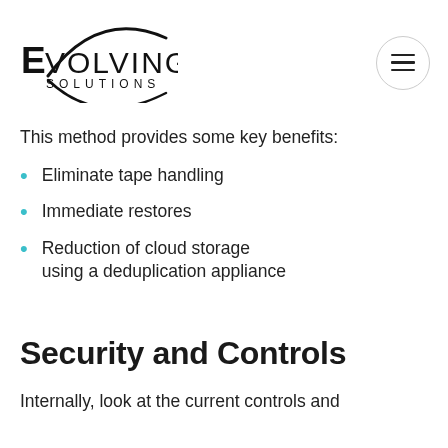[Figure (logo): Evolving Solutions logo with circular swoosh and text]
This method provides some key benefits:
Eliminate tape handling
Immediate restores
Reduction of cloud storage using a deduplication appliance
Security and Controls
Internally, look at the current controls and